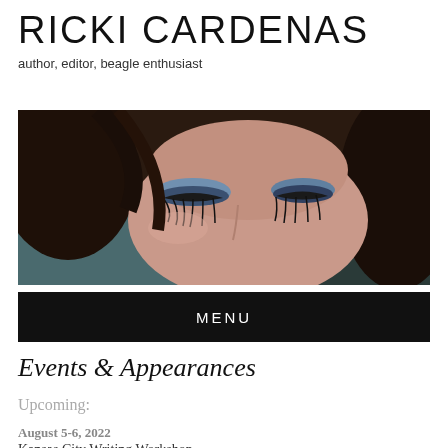RICKI CARDENAS
author, editor, beagle enthusiast
[Figure (photo): Close-up photo of a woman with dark hair looking downward, wearing dark eye makeup with blue eyeshadow]
MENU
Events & Appearances
Upcoming:
August 5-6, 2022
Kansas City Writing Workshop